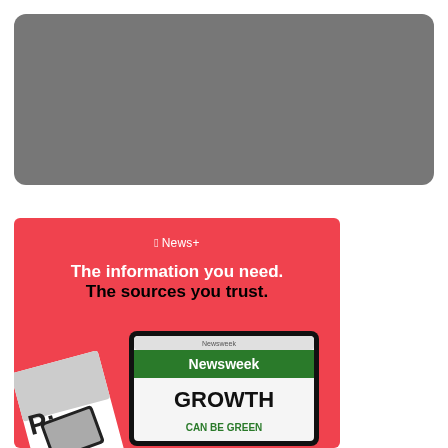[Figure (other): Gray rounded rectangle placeholder image]
[Figure (illustration): Apple News+ advertisement with red background. Shows Apple News+ logo at top, bold white text 'The information you need.' and black text 'The sources you trust.' with tablet showing Newsweek magazine including GROWTH CAN BE GREEN headline]